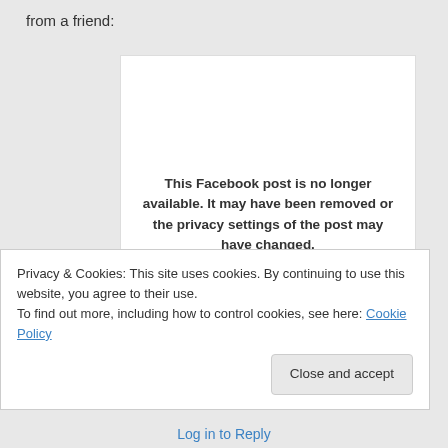from a friend:
[Figure (screenshot): Facebook embedded post placeholder showing message: 'This Facebook post is no longer available. It may have been removed or the privacy settings of the post may have changed.' with Help Center link and Facebook icon.]
Privacy & Cookies: This site uses cookies. By continuing to use this website, you agree to their use.
To find out more, including how to control cookies, see here: Cookie Policy
Close and accept
Log in to Reply